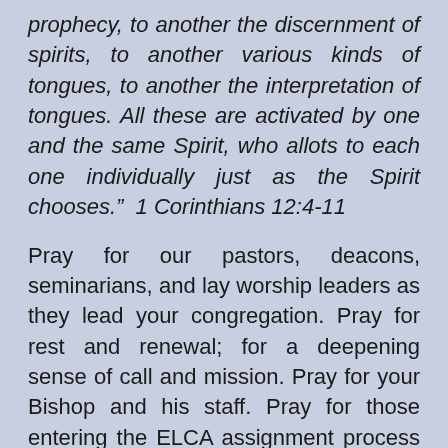prophecy, to another the discernment of spirits, to another various kinds of tongues, to another the interpretation of tongues. All these are activated by one and the same Spirit, who allots to each one individually just as the Spirit chooses.”  1 Corinthians 12:4-11
Pray for our pastors, deacons, seminarians, and lay worship leaders as they lead your congregation. Pray for rest and renewal; for a deepening sense of call and mission. Pray for your Bishop and his staff. Pray for those entering the ELCA assignment process to receive a call and for seminarians who are preparing for